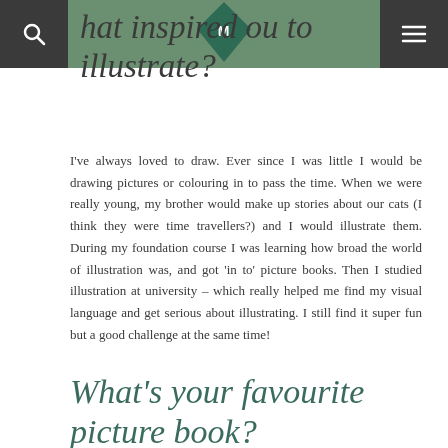What inspired you to illustrate?
I've always loved to draw. Ever since I was little I would be drawing pictures or colouring in to pass the time. When we were really young, my brother would make up stories about our cats (I think they were time travellers?) and I would illustrate them. During my foundation course I was learning how broad the world of illustration was, and got 'in to' picture books. Then I studied illustration at university – which really helped me find my visual language and get serious about illustrating. I still find it super fun but a good challenge at the same time!
What's your favourite picture book?